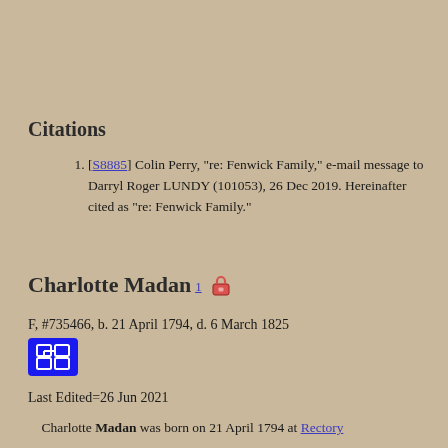Citations
[S8885] Colin Perry, "re: Fenwick Family," e-mail message to Darryl Roger LUNDY (101053), 26 Dec 2019. Hereinafter cited as "re: Fenwick Family."
Charlotte Madan1 🔒
F, #735466, b. 21 April 1794, d. 6 March 1825
Last Edited=26 Jun 2021
Charlotte Madan was born on 21 April 1794 at Rectory House, St. Phillips, Bla...